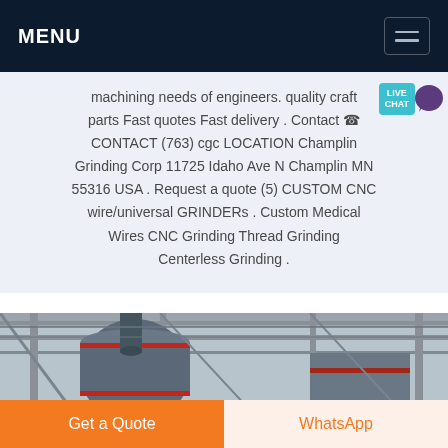MENU
machining needs of engineers. quality craft parts Fast quotes Fast delivery . Contact ☎ CONTACT (763) cgc LOCATION Champlin Grinding Corp 11725 Idaho Ave N Champlin MN 55316 USA . Request a quote (5) CUSTOM CNC wire/universal GRINDERs . Custom Medical Wires CNC Grinding Thread Grinding Centerless Grinding .
[Figure (photo): Industrial facility interior showing large cylindrical grinding or milling equipment, structural beams and columns visible in the background]
Get a Quote
WhatsApp